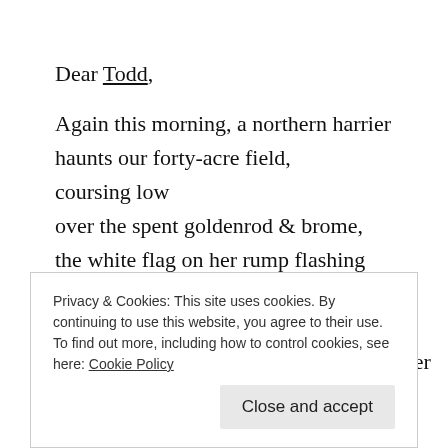Dear Todd,
Again this morning, a northern harrier
haunts our forty-acre field,
coursing low
over the spent goldenrod & brome,
the white flag on her rump flashing
as she banks & hovers, her wings
in a fluttery V:
mixed signals for those who would see her
Privacy & Cookies: This site uses cookies. By continuing to use this website, you agree to their use.
To find out more, including how to control cookies, see here: Cookie Policy
Close and accept